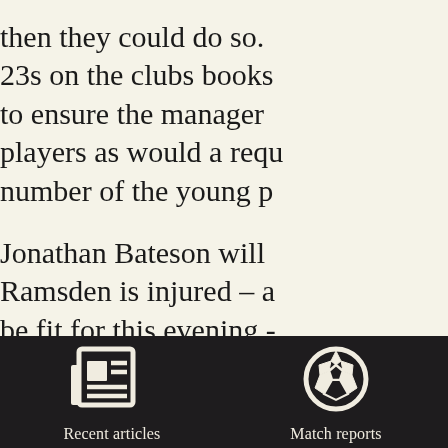then they could do so. 23s on the clubs books to ensure the manager players as would a requ number of the young p
Jonathan Bateson will Ramsden is injured – a be fit for this evening - Zesh Rehman in the m continues at left back w
[Figure (infographic): Dark footer bar with two navigation icons: a newspaper icon labeled 'Recent articles' and a soccer ball icon labeled 'Match reports']